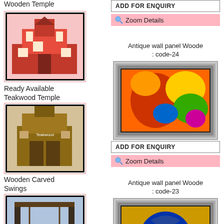Wooden Temple
[Figure (photo): Wooden Temple with pink/red color, framed product image]
Ready Available Teakwood Temple
[Figure (photo): Teakwood temple/furniture piece, framed product image]
Wooden Carved Swings
[Figure (photo): Wooden carved swing structure, framed product image]
Wooden Carved Doors
[Figure (photo): Carved wooden doors, framed product image]
[Figure (other): ADD FOR ENQUIRY button]
[Figure (other): Zoom Details button, pink background]
Antique wall panel Wooden : code-24
[Figure (photo): Antique wall panel wooden art code-24, colorful abstract painting in ornate frame]
[Figure (other): ADD FOR ENQUIRY button]
[Figure (other): Zoom Details button, pink background]
Antique wall panel Wooden : code-23
[Figure (photo): Antique wall panel wooden art code-23, blue deity face painting in ornate frame]